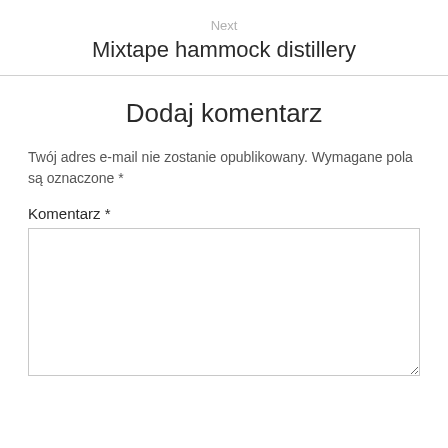Next
Mixtape hammock distillery
Dodaj komentarz
Twój adres e-mail nie zostanie opublikowany. Wymagane pola są oznaczone *
Komentarz *